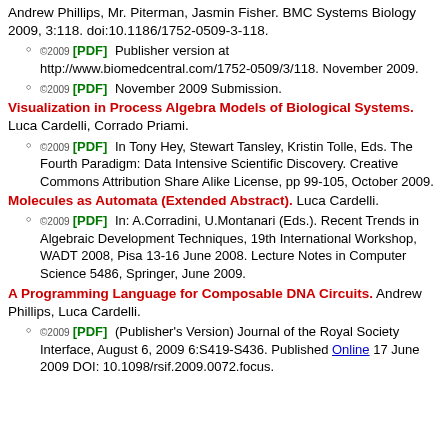Andrew Phillips, Mr. Piterman, Jasmin Fisher. BMC Systems Biology 2009, 3:118. doi:10.1186/1752-0509-3-118.
©2009 [PDF] Publisher version at http://www.biomedcentral.com/1752-0509/3/118. November 2009.
©2009 [PDF] November 2009 Submission.
Visualization in Process Algebra Models of Biological Systems. Luca Cardelli, Corrado Priami.
©2009 [PDF] In Tony Hey, Stewart Tansley, Kristin Tolle, Eds. The Fourth Paradigm: Data Intensive Scientific Discovery. Creative Commons Attribution Share Alike License, pp 99-105, October 2009.
Molecules as Automata (Extended Abstract). Luca Cardelli.
©2009 [PDF] In: A.Corradini, U.Montanari (Eds.). Recent Trends in Algebraic Development Techniques, 19th International Workshop, WADT 2008, Pisa 13-16 June 2008. Lecture Notes in Computer Science 5486, Springer, June 2009.
A Programming Language for Composable DNA Circuits. Andrew Phillips, Luca Cardelli.
©2009 [PDF] (Publisher's Version) Journal of the Royal Society Interface, August 6, 2009 6:S419-S436. Published Online 17 June 2009 DOI: 10.1098/rsif.2009.0072.focus.